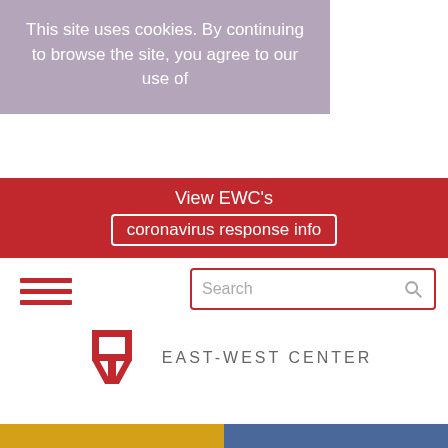This site uses cookies. By continuing to browse the site, you agree to our use of
[Figure (screenshot): East-West Center website screenshot showing cookie banner, COVID alert bar, navigation with search, logo, donate and contact buttons, Education section header, scroll-to-top button, and social share icons]
View EWC's coronavirus response info
Search
[Figure (logo): East-West Center logo with red stylized EW symbol and text EAST-WEST CENTER]
DONATE
CONTACT
Education
share